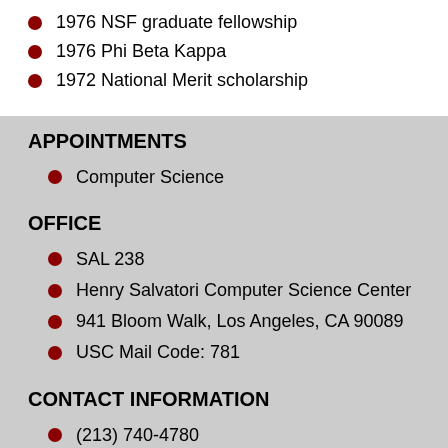1976 NSF graduate fellowship
1976 Phi Beta Kappa
1972 National Merit scholarship
APPOINTMENTS
Computer Science
OFFICE
SAL 238
Henry Salvatori Computer Science Center
941 Bloom Walk, Los Angeles, CA 90089
USC Mail Code: 781
CONTACT INFORMATION
(213) 740-4780